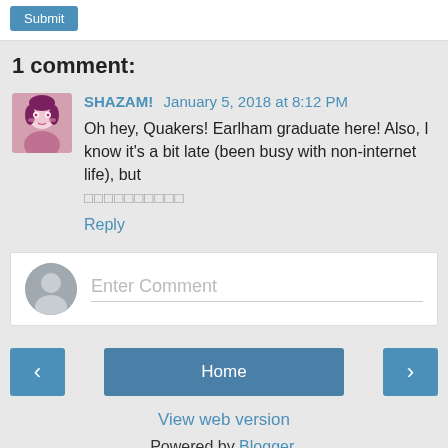[Figure (screenshot): Blue button at top of page]
1 comment:
SHAZAM! January 5, 2018 at 8:12 PM
Oh hey, Quakers! Earlham graduate here! Also, I know it's a bit late (been busy with non-internet life), but
□□□□□□□□□□
Reply
Enter Comment
‹  Home  ›
View web version
Powered by Blogger.